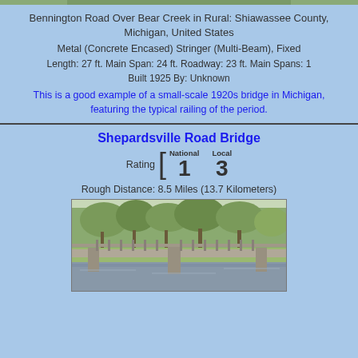[Figure (photo): Top portion of a bridge photo (cropped at top of page)]
Bennington Road Over Bear Creek in Rural: Shiawassee County, Michigan, United States
Metal (Concrete Encased) Stringer (Multi-Beam), Fixed
Length: 27 ft. Main Span: 24 ft. Roadway: 23 ft. Main Spans: 1
Built 1925 By: Unknown
This is a good example of a small-scale 1920s bridge in Michigan, featuring the typical railing of the period.
Shepardsville Road Bridge
Rating [ National 1  Local 3
Rough Distance: 8.5 Miles (13.7 Kilometers)
[Figure (photo): Photo of Shepardsville Road Bridge showing a concrete bridge over a creek with trees in background]